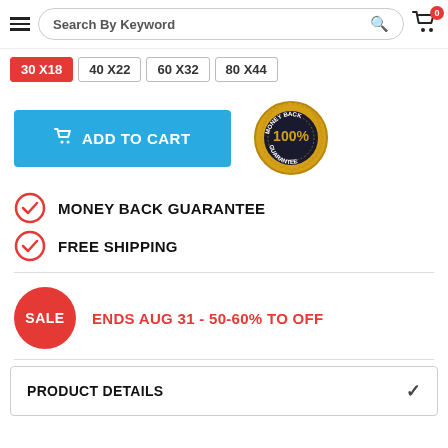Search By Keyword (navigation bar with hamburger menu, search box, cart icon with badge 0)
30 X18 (selected), 40 X22, 60 X32, 80 X44
ADD TO CART button with 100% Money Back Guarantee seal
MONEY BACK GUARANTEE
FREE SHIPPING
SALE ENDS AUG 31 - 50-60% TO OFF
PRODUCT DETAILS